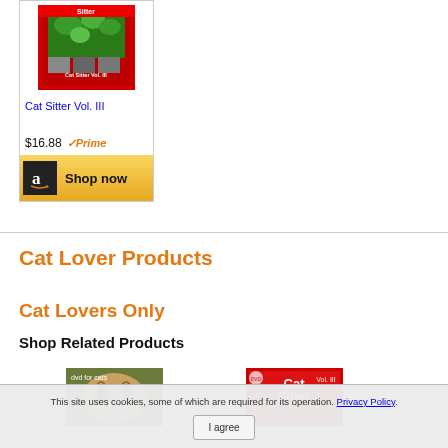[Figure (photo): Product card for Cat Sitter Vol. III with book cover image, price $16.88, Amazon Prime badge, and Shop now button]
Cat Sitter Vol. III
$16.88 ✓Prime
Cat Lover Products
Cat Lovers Only
Shop Related Products
[Figure (photo): Cat face close-up thumbnail for dvd for cats product]
[Figure (photo): Cat Sitter Vol. III product thumbnail]
This site uses cookies, some of which are required for its operation. Privacy Policy.